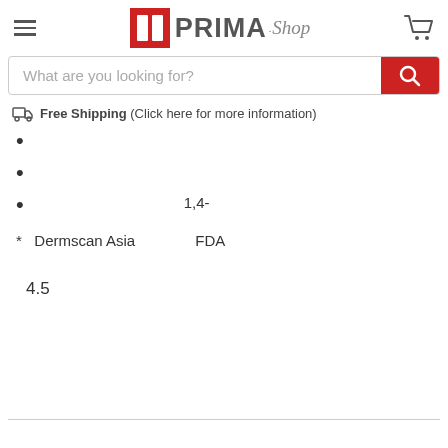PRIMA.Shop — navigation header with hamburger menu, logo, and cart icon
What are you looking for?
Free Shipping (Click here for more information)
1,4-
* Dermscan Asia    FDA
4.5